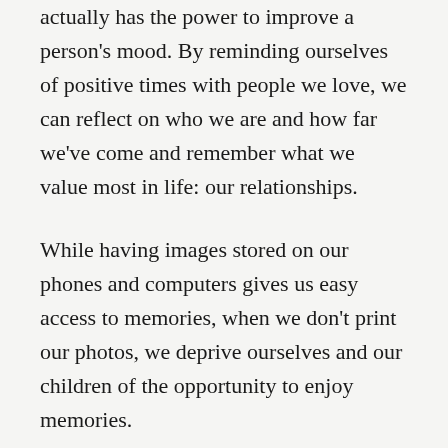actually has the power to improve a person's mood. By reminding ourselves of positive times with people we love, we can reflect on who we are and how far we've come and remember what we value most in life: our relationships.
While having images stored on our phones and computers gives us easy access to memories, when we don't print our photos, we deprive ourselves and our children of the opportunity to enjoy memories.
By creating a photo album or hanging prints on the wall, you're not only giving yourself a chance to remember memories, you're also providing your children—and one day grandchildren—a chance to look back at days they don't remember. Think of the future and how valuable printed photos will be not only to you